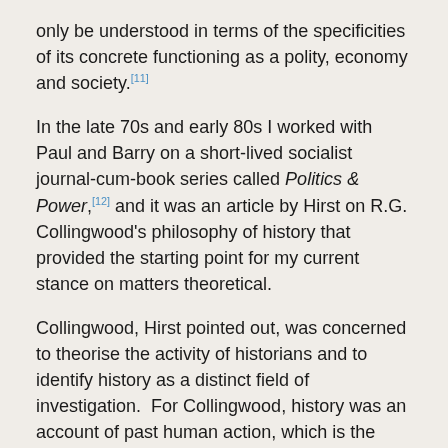only be understood in terms of the specificities of its concrete functioning as a polity, economy and society.[11]
In the late 70s and early 80s I worked with Paul and Barry on a short-lived socialist journal-cum-book series called Politics & Power,[12] and it was an article by Hirst on R.G. Collingwood's philosophy of history that provided the starting point for my current stance on matters theoretical.
Collingwood, Hirst pointed out, was concerned to theorise the activity of historians and to identify history as a distinct field of investigation.  For Collingwood, history was an account of past human action, which is the product of human thought. “Collingwood is committed to a view of history as the history of human thought because it is the product of definite individual human actors.  Nations, states, classes etc., are merely hypostatisations of related human actions.  Nations exist only in so far as individual actors thinks in terms of nations, construct their situations of actions in terms of them and act accordingly.” Collingwood also believed that people “are free in